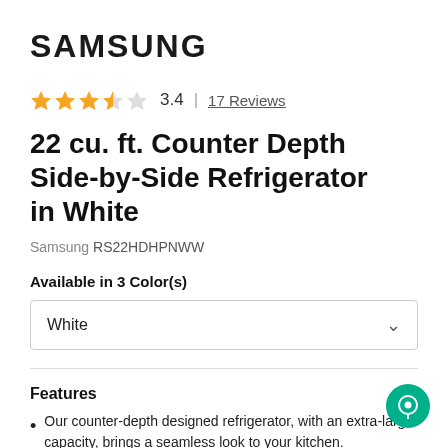[Figure (logo): Samsung logo in bold black text]
3.4 | 17 Reviews (star rating: 3.4 out of 5, 17 reviews)
22 cu. ft. Counter Depth Side-by-Side Refrigerator in White
Samsung RS22HDHPNWW
Available in 3 Color(s)
White (dropdown selected)
Features
Our counter-depth designed refrigerator, with an extra-large capacity, brings a seamless look to your kitchen.